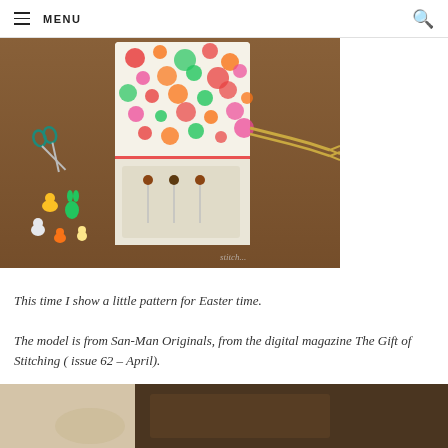MENU
[Figure (photo): A needle book/sewing kit with colorful polka-dot fabric, decorative pins with Easter-themed toppers, scissors, small Easter figurines (chick, bunny, egg), and a twisted cord closure, arranged on a wooden surface.]
This time I show a little pattern for Easter time.
The model is from San-Man Originals, from the digital magazine The Gift of Stitching ( issue 62 – April).
[Figure (photo): Partial view of another photo at the bottom of the page, showing a light-colored background with a dark object.]